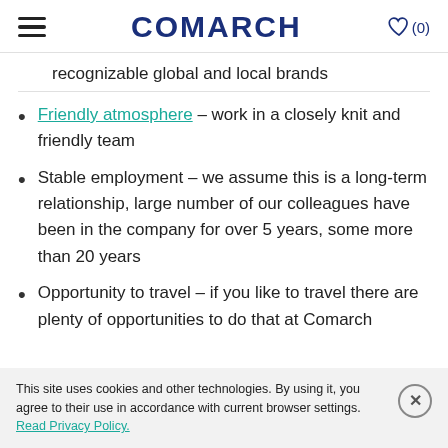COMARCH
recognizable global and local brands
Friendly atmosphere – work in a closely knit and friendly team
Stable employment – we assume this is a long-term relationship, large number of our colleagues have been in the company for over 5 years, some more than 20 years
Opportunity to travel – if you like to travel there are plenty of opportunities to do that at Comarch
This site uses cookies and other technologies. By using it, you agree to their use in accordance with current browser settings. Read Privacy Policy.